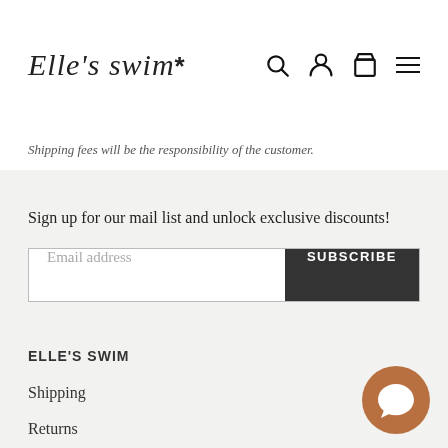Elle's swim*
Shipping fees will be the responsibility of the customer.
Sign up for our mail list and unlock exclusive discounts!
Email address
SUBSCRIBE
ELLE'S SWIM
Shipping
Returns